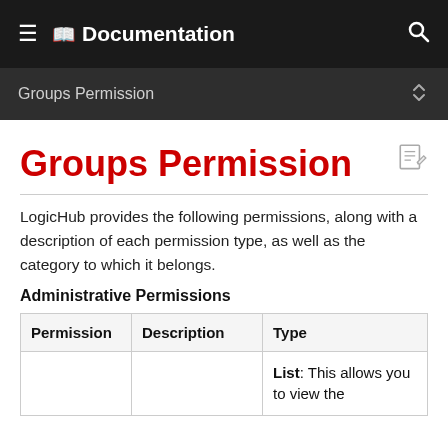☰ 📖 Documentation 🔍
Groups Permission
Groups Permission
LogicHub provides the following permissions, along with a description of each permission type, as well as the category to which it belongs.
Administrative Permissions
| Permission | Description | Type |
| --- | --- | --- |
|  |  | List: This allows you to view the |